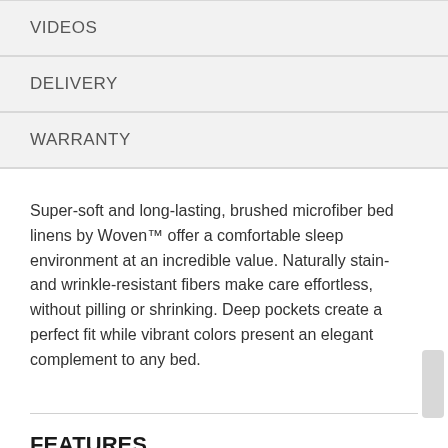VIDEOS
DELIVERY
WARRANTY
Super-soft and long-lasting, brushed microfiber bed linens by Woven™ offer a comfortable sleep environment at an incredible value. Naturally stain- and wrinkle-resistant fibers make care effortless, without pilling or shrinking. Deep pockets create a perfect fit while vibrant colors present an elegant complement to any bed.
FEATURES
Super soft, brushed microfiber